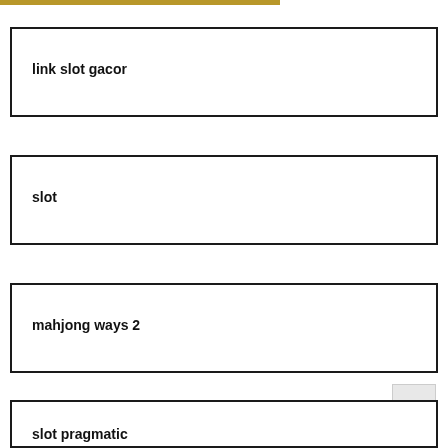[Figure (other): Gold/tan horizontal bar at top of page]
link slot gacor
slot
mahjong ways 2
slot pragmatic